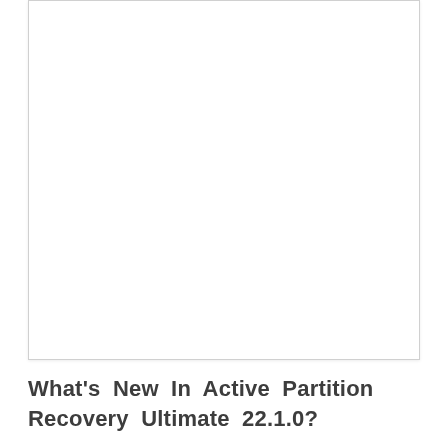[Figure (other): Large white rectangular box with light border, occupying most of the upper portion of the page]
What's New In Active Partition Recovery Ultimate 22.1.0?